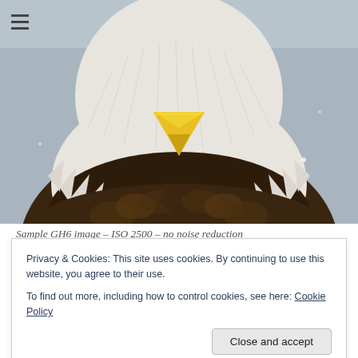[Figure (photo): Close-up photo of a bald eagle facing the camera, showing its yellow beak, white head feathers, and brown body feathers against a gray background.]
Sample GH6 image – ISO 2500 – no noise reduction
Privacy & Cookies: This site uses cookies. By continuing to use this website, you agree to their use.
To find out more, including how to control cookies, see here: Cookie Policy
Close and accept
will run into more disinformation than information